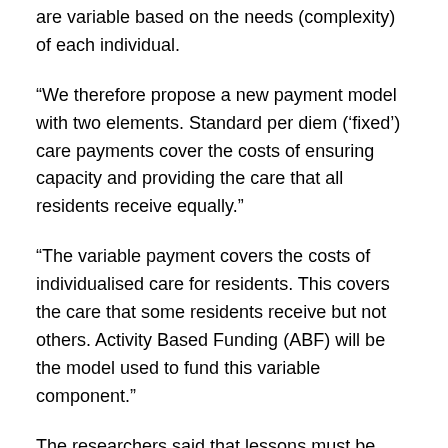are variable based on the needs (complexity) of each individual.
“We therefore propose a new payment model with two elements. Standard per diem (‘fixed’) care payments cover the costs of ensuring capacity and providing the care that all residents receive equally.”
“The variable payment covers the costs of individualised care for residents. This covers the care that some residents receive but not others. Activity Based Funding (ABF) will be the model used to fund this variable component.”
The researchers said that lessons must be drawn from health and other human service sectors in Australia and internationally, including ABF models in the health sector but that aged care does not have a good understanding of how it works.